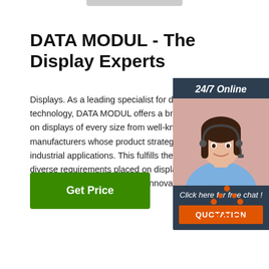DATA MODUL - The Display Experts
Displays. As a leading specialist for display technology, DATA MODUL offers a broad on displays of every size from well-known manufacturers whose product strategy fo industrial applications. This fulfills the mo diverse requirements placed on display technologies and modern and innovative designs.
[Figure (photo): Customer service representative with headset, smiling. Sidebar overlay with '24/7 Online' header, 'Click here for free chat!' text, and orange QUOTATION button.]
[Figure (other): Get Price green button]
[Figure (logo): TOP logo with orange dots forming a triangle above the word TOP in orange text]